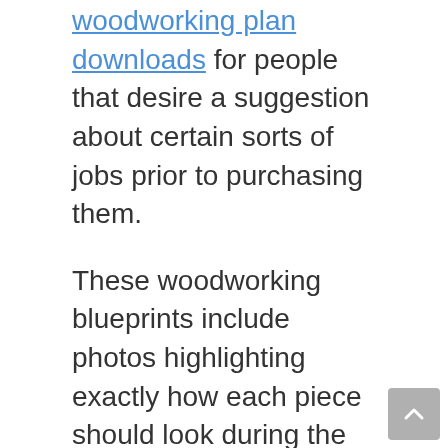woodworking plan downloads for people that desire a suggestion about certain sorts of jobs prior to purchasing them.
These woodworking blueprints include photos highlighting exactly how each piece should look during the setting up process which permits individuals to see if they have the woodworking abilities necessary for completing a task successfully.
Woodworkers can also use woodworking Plans as referral points and also alter them to match their needs, or they may browse online databases of woodworking